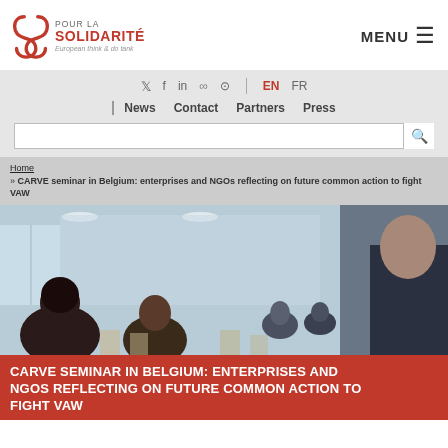[Figure (logo): Pour la Solidarité - European think & do tank logo with red stylized PS icon]
MENU ≡
Social icons: Twitter, Facebook, LinkedIn, Flickr, Instagram | EN FR | News | Contact | Partners | Press | Search bar
Home » CARVE seminar in Belgium: enterprises and NGOs reflecting on future common action to fight VAW
[Figure (photo): Conference room with attendees seated, viewed from behind, professional seminar setting]
CARVE SEMINAR IN BELGIUM: ENTERPRISES AND NGOS REFLECTING ON FUTURE COMMON ACTION TO FIGHT VAW